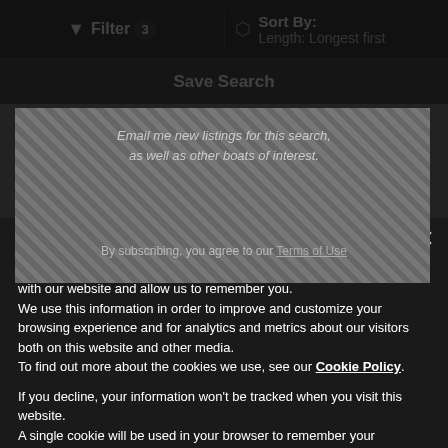Filter 3 | Sort By: Length: Longest first
Save Search
2008 Sunseeker 90 Yacht
Email me new listings for this search, as well as other boats of interest.
By subscribing, you agree to our Terms of Use
This website stores cookies on your computer. These cookies are used to collect information about how you interact with our website and allow us to remember you. We use this information in order to improve and customize your browsing experience and for analytics and metrics about our visitors both on this website and other media. To find out more about the cookies we use, see our Cookie Policy.
If you decline, your information won't be tracked when you visit this website. A single cookie will be used in your browser to remember your preference not to be tracked.
Deny
Accept Cookies